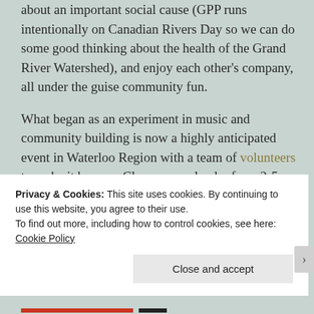about an important social cause (GPP runs intentionally on Canadian Rivers Day so we can do some good thinking about the health of the Grand River Watershed), and enjoy each other's company, all under the guise community fun.
What began as an experiment in music and community building is now a highly anticipated event in Waterloo Region with a team of volunteers to make it happen. Clear your calendar from 2-5pm this Sunday. And it's rain or shine so bring your umbrella. I'll meet you there.
Have you been to Grand Porch Party before? What did
Privacy & Cookies: This site uses cookies. By continuing to use this website, you agree to their use.
To find out more, including how to control cookies, see here: Cookie Policy